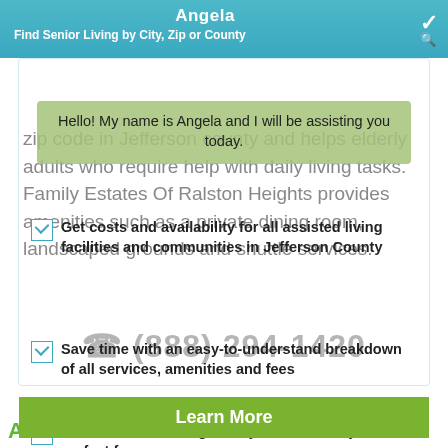Angela | Find Senior Living by City, Zip or County
zip code in Jefferson county and helps elderly adults who require help with daily living tasks. Family Estates Of Ralston Heights provides amenities such as a private dining room, landscaped grounds and shuttle services.
Hello! My name is Angela and I will be assisting you today.
Get costs and availability for all assisted living facilities and communities in Jefferson County
(888) 294-1420
Save time with an easy-to-understand breakdown of all services, amenities and fees
Learn More
Find the senior living facility or community that is perfect for you
View Pricing & Availability
Yes, I want to see pricing!
ALMOST LIKE HOME